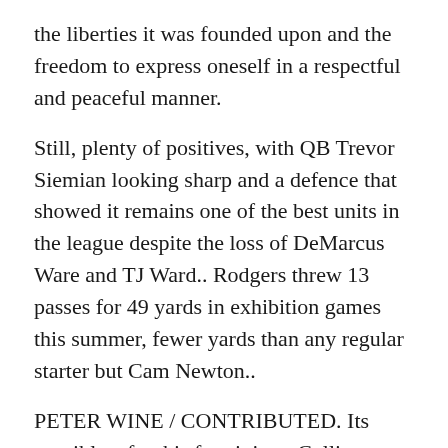the liberties it was founded upon and the freedom to express oneself in a respectful and peaceful manner.
Still, plenty of positives, with QB Trevor Siemian looking sharp and a defence that showed it remains one of the best units in the league despite the loss of DeMarcus Ware and TJ Ward.. Rodgers threw 13 passes for 49 yards in exhibition games this summer, fewer yards than any regular starter but Cam Newton..
PETER WINE / CONTRIBUTED. Its possible, after his foot injury, Collin Miller, a very good pass rusher in high school and the only recruit Hank Hughes coaxed to sign with NU, is just what the doc ordered.. 1, No. Keep an eye on Williams on draft day this August but don’t reach for him too high or you will surely be disappointed.
He wasn invited to the NFL scouting combine in